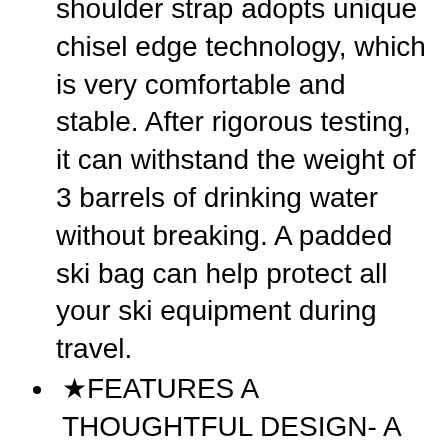shoulder strap adopts unique chisel edge technology, which is very comfortable and stable. After rigorous testing, it can withstand the weight of 3 barrels of drinking water without breaking. A padded ski bag can help protect all your ski equipment during travel.
★FEATURES A THOUGHTFUL DESIGN- A padded ski bag can help protect all your ski equipment during travel, at the same time without the boots hurting your back. and it can also allow you to put your feet on the EVA waterproof ski boot compartment flap while changing, keeping your feet dry